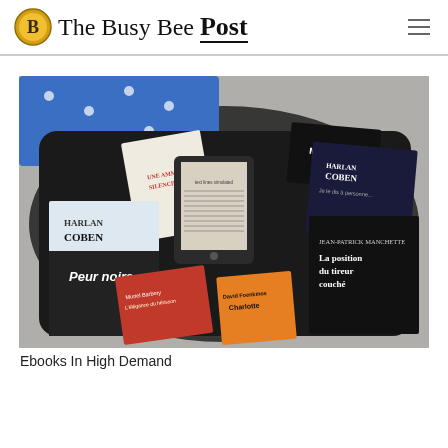The Busy Bee Post
[Figure (photo): Suitcase open and filled with physical books (including Harlan Coben 'Peur noire', Mo Hayder, Harlan Coben 'Je le dis à personne', 'La position du tireur couché', Muriel Barbery 'L'élégance du hérisson', David Foenkinos 'Charlotte', and others) alongside a Kindle e-reader, placed on a floor with blue polka-dot fabric visible.]
Ebooks In High Demand